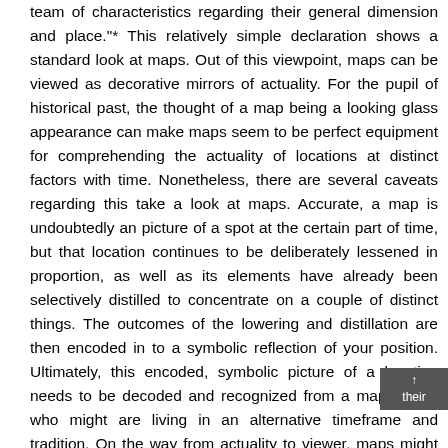team of characteristics regarding their general dimension and place."* This relatively simple declaration shows a standard look at maps. Out of this viewpoint, maps can be viewed as decorative mirrors of actuality. For the pupil of historical past, the thought of a map being a looking glass appearance can make maps seem to be perfect equipment for comprehending the actuality of locations at distinct factors with time. Nonetheless, there are several caveats regarding this take a look at maps. Accurate, a map is undoubtedly an picture of a spot at the certain part of time, but that location continues to be deliberately lessened in proportion, as well as its elements have already been selectively distilled to concentrate on a couple of distinct things. The outcomes of the lowering and distillation are then encoded in to a symbolic reflection of your position. Ultimately, this encoded, symbolic picture of a location needs to be decoded and recognized from a map viewer who might are living in an alternative timeframe and tradition. On the way from actuality to viewer, maps might drop some or a bunch of their refractive capability or even the picture can become blurry.